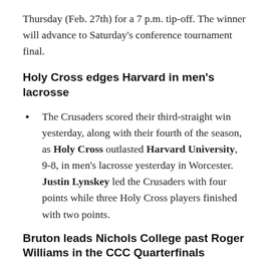Thursday (Feb. 27th) for a 7 p.m. tip-off. The winner will advance to Saturday's conference tournament final.
Holy Cross edges Harvard in men's lacrosse
The Crusaders scored their third-straight win yesterday, along with their fourth of the season, as Holy Cross outlasted Harvard University, 9-8, in men's lacrosse yesterday in Worcester. Justin Lynskey led the Crusaders with four points while three Holy Cross players finished with two points.
Bruton leads Nichols College past Roger Williams in the CCC Quarterfinals